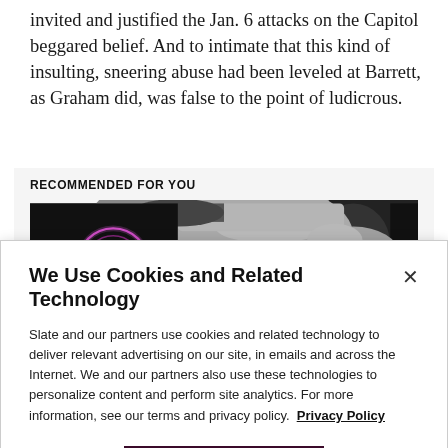invited and justified the Jan. 6 attacks on the Capitol beggared belief. And to intimate that this kind of insulting, sneering abuse had been leveled at Barrett, as Graham did, was false to the point of ludicrous.
RECOMMENDED FOR YOU
[Figure (photo): Close-up black and white photo of a woman's face with pink/purple glowing circular light element on the left side]
We Use Cookies and Related Technology
Slate and our partners use cookies and related technology to deliver relevant advertising on our site, in emails and across the Internet. We and our partners also use these technologies to personalize content and perform site analytics. For more information, see our terms and privacy policy.  Privacy Policy
OK